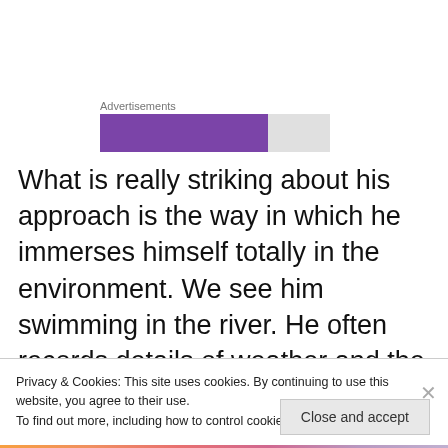[Figure (other): Advertisements bar with purple and gray sections]
What is really striking about his approach is the way in which he immerses himself totally in the environment.  We see him swimming in the river. He often records details of weather and the sights and the sounds around him in handwritten notes on the paintings themselves.  He endures the midges, and in one extraordinary scene in the
Privacy & Cookies: This site uses cookies. By continuing to use this website, you agree to their use.
To find out more, including how to control cookies, see here: Cookie Policy
Close and accept